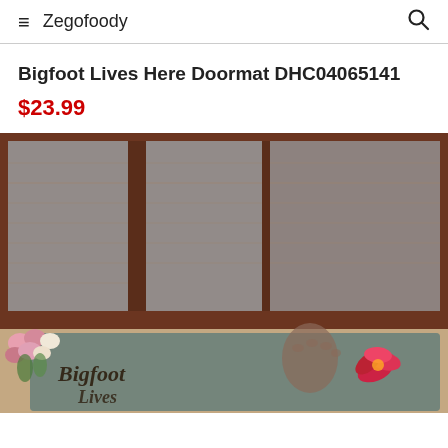≡ Zegofoody 🔍
Bigfoot Lives Here Doormat DHC04065141
$23.99
[Figure (photo): Product photo of a decorative doormat placed in front of a sliding glass door with dark wood frame. The mat features colorful artwork with text reading 'Bigfoot Lives Here', a large stylized footprint, and a pink/red flower. Pink and white flowers are visible on the left side of the mat.]